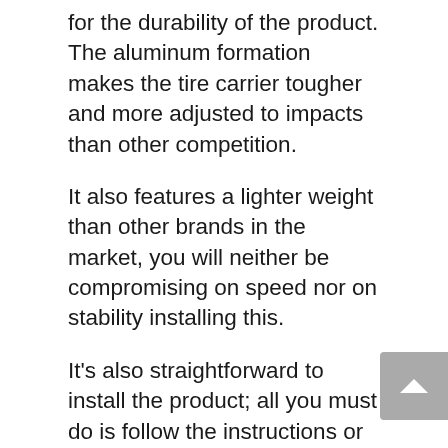for the durability of the product. The aluminum formation makes the tire carrier tougher and more adjusted to impacts than other competition.
It also features a lighter weight than other brands in the market, you will neither be compromising on speed nor on stability installing this.
It’s also straightforward to install the product; all you must do is follow the instructions or watch a youtube video.
Getting the right tools won’t be that big of a deal, as I am pretty sure you got the right ones laying around in your shed. You won’t be needed to drill, all you’ll have to do is